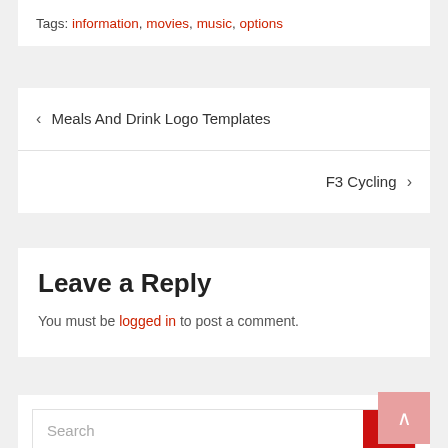Tags: information, movies, music, options
< Meals And Drink Logo Templates
F3 Cycling >
Leave a Reply
You must be logged in to post a comment.
Search